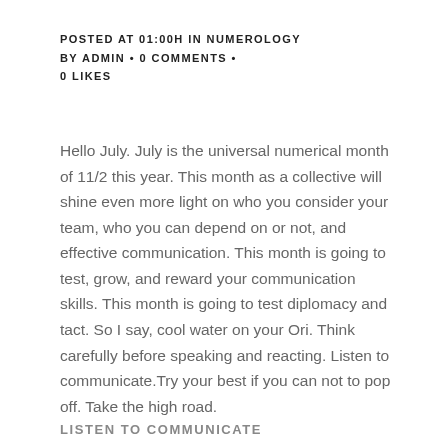POSTED AT 01:00H IN NUMEROLOGY BY ADMIN • 0 COMMENTS • 0 LIKES
Hello July. July is the universal numerical month of 11/2 this year. This month as a collective will shine even more light on who you consider your team, who you can depend on or not, and effective communication. This month is going to test, grow, and reward your communication skills. This month is going to test diplomacy and tact. So I say, cool water on your Ori. Think carefully before speaking and reacting. Listen to communicate.Try your best if you can not to pop off. Take the high road.
LISTEN TO COMMUNICATE